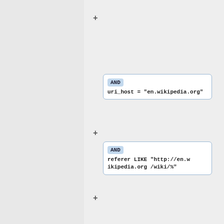[Figure (screenshot): A query builder UI showing SQL-like filter conditions stacked vertically. Each condition is shown in a rounded rectangle with a light blue background badge for the keyword (AND, GROUP BY) and monospace code text. Conditions shown: uri_path = "/wiki/London" (partially visible at top), AND uri_host = "en.wikipedia.org", AND referer LIKE "http://en.wikipedia.org/wiki/%", AND http_status = 200, GROUP BY, SUBSTR(refer... (partially visible at bottom). Each block is connected by a '+' operator on the left.]